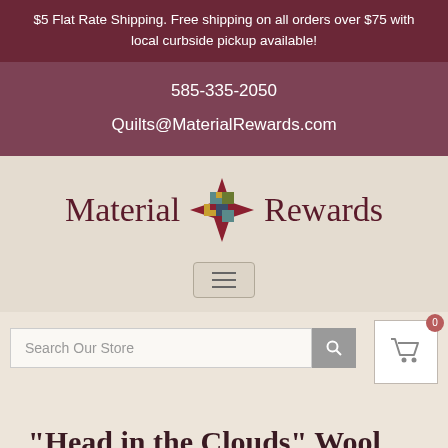$5 Flat Rate Shipping. Free shipping on all orders over $75 with local curbside pickup available!
585-335-2050
Quilts@MaterialRewards.com
[Figure (logo): Material Rewards logo with a quilt star pattern between the words Material and Rewards]
[Figure (other): Hamburger menu icon button]
[Figure (other): Shopping cart icon with badge showing 0]
Search Our Store
"Head in the Clouds" Wool